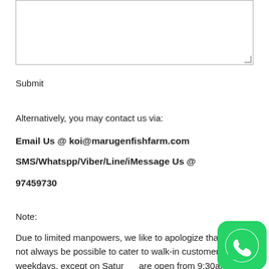[Figure (other): Empty textarea form input with resize handle]
Submit
Alternatively, you may contact us via:
Email Us @ koi@marugenfishfarm.com
SMS/Whatspp/Viber/Line/iMessage Us @ 97459730
Note:
Due to limited manpowers, we like to apologize that it may not always be possible to cater to walk-in customers on weekdays, except on Saturdays (we are open from 9:30am to 5pm every Saturday).
[Figure (logo): WhatsApp green icon]
Thanks in advance for your kind patience, and we at Marugen Koi Farm warmly welcome you to your Marugen Koi Farm visit! =)